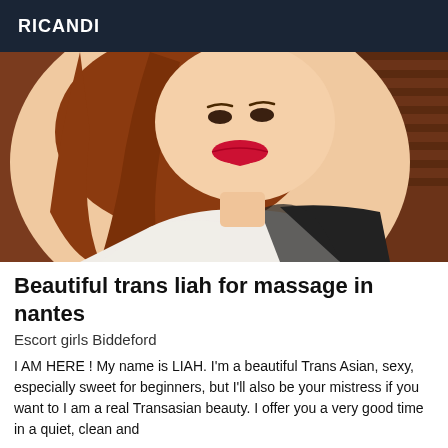RICANDI
[Figure (photo): Portrait photo of a young woman with long auburn/red hair, wearing a black and white outfit, smiling with red lipstick, photographed against a wooden blind/shutter background.]
Beautiful trans liah for massage in nantes
Escort girls Biddeford
I AM HERE ! My name is LIAH. I'm a beautiful Trans Asian, sexy, especially sweet for beginners, but I'll also be your mistress if you want to I am a real Transasian beauty. I offer you a very good time in a quiet, clean and